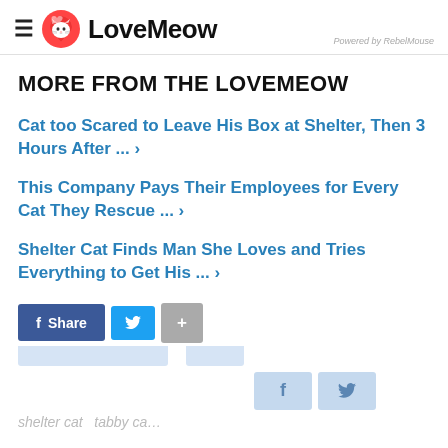LoveMeow — Powered by RebelMouse
MORE FROM THE LOVEMEOW
Cat too Scared to Leave His Box at Shelter, Then 3 Hours After ... ›
This Company Pays Their Employees for Every Cat They Rescue ... ›
Shelter Cat Finds Man She Loves and Tries Everything to Get His ... ›
f Share  [Twitter button]  [+  button]
shelter cat  tabby ca…